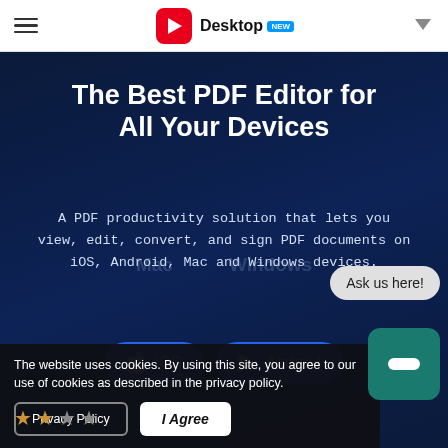Desktop
The Best PDF Editor for All Your Devices
A PDF productivity solution that lets you view, edit, convert, and sign PDF documents on iOS, Android, Mac and Windows devices.
[Figure (screenshot): iOS and Android download buttons (blue pill-shaped buttons with Apple and Google Play icons)]
Ask us here!
The website uses cookies. By using this site, you agree to our use of cookies as described in the privacy policy.
Privacy Policy
I Agree